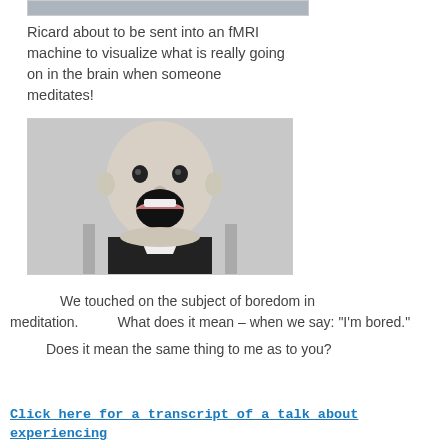[Figure (photo): Top portion of a photo showing people near an fMRI machine (partially visible, cropped at top of page)]
Ricard about to be sent into an fMRI machine to visualize what is really going on in the brain when someone meditates!
[Figure (photo): Black and white photograph of a baby with mouth wide open, appearing to yell or yawn, sitting in a chair]
We touched on the subject of boredom in meditation.      What does it mean – when we say: "I'm bored."
Does it mean the same thing to me as to you?
Click here for a transcript of a talk about experiencing